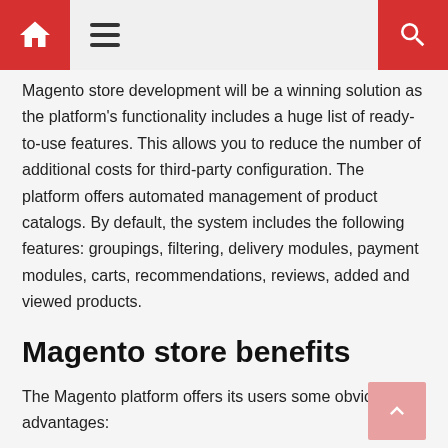Home | Menu | Search
Magento store development will be a winning solution as the platform's functionality includes a huge list of ready-to-use features. This allows you to reduce the number of additional costs for third-party configuration. The platform offers automated management of product catalogs. By default, the system includes the following features: groupings, filtering, delivery modules, payment modules, carts, recommendations, reviews, added and viewed products.
Magento store benefits
The Magento platform offers its users some obvious advantages: